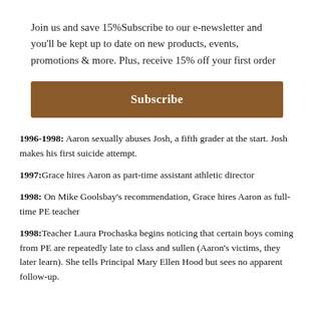Join us and save 15%Subscribe to our e-newsletter and you'll be kept up to date on new products, events, promotions & more. Plus, receive 15% off your first order
Subscribe
1996-1998: Aaron sexually abuses Josh, a fifth grader at the start. Josh makes his first suicide attempt.
1997:Grace hires Aaron as part-time assistant athletic director
1998: On Mike Goolsbay's recommendation, Grace hires Aaron as full-time PE teacher
1998:Teacher Laura Prochaska begins noticing that certain boys coming from PE are repeatedly late to class and sullen (Aaron's victims, they later learn). She tells Principal Mary Ellen Hood but sees no apparent follow-up.